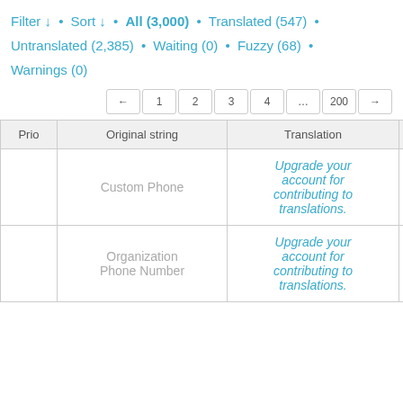Filter ↓ • Sort ↓ • All (3,000) • Translated (547) • Untranslated (2,385) • Waiting (0) • Fuzzy (68) • Warnings (0)
← 1 2 3 4 … 200 →
| Prio | Original string | Translation | — |
| --- | --- | --- | --- |
|  | Custom Phone | Upgrade your account for contributing to translations. | Details |
|  | Organization Phone Number | Upgrade your account for contributing to translations. | Details |